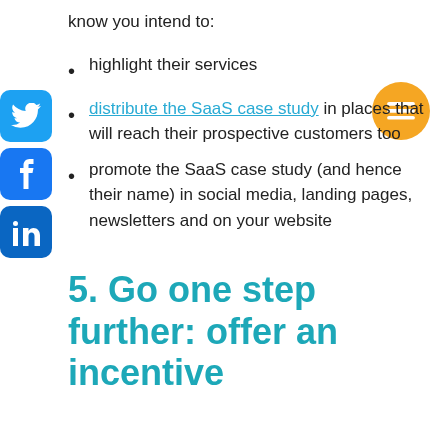know you intend to:
highlight their services
distribute the SaaS case study in places that will reach their prospective customers too
promote the SaaS case study (and hence their name) in social media, landing pages, newsletters and on your website
5. Go one step further: offer an incentive